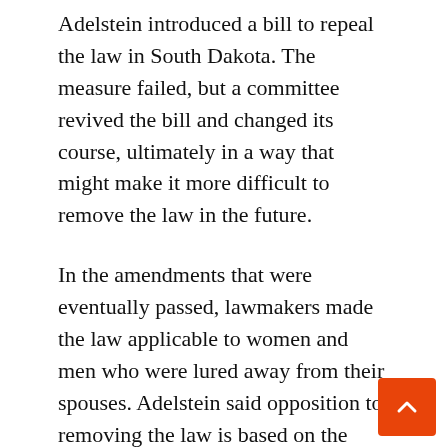Adelstein introduced a bill to repeal the law in South Dakota. The measure failed, but a committee revived the bill and changed its course, ultimately in a way that might make it more difficult to remove the law in the future.
In the amendments that were eventually passed, lawmakers made the law applicable to women and men who were lured away from their spouses. Adelstein said opposition to removing the law is based on the strong conservative beliefs of religious lawmakers.
“There is a reluctance among some lawmakers to allow people to behave in a way that they believe violates the Bible, and the feeling that marriage is a sacred institution and that anyone who